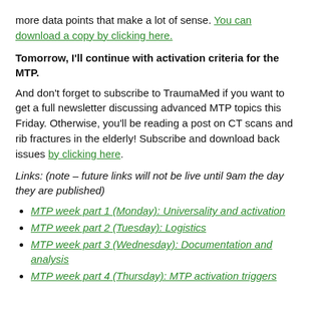more data points that make a lot of sense. You can download a copy by clicking here.
Tomorrow, I'll continue with activation criteria for the MTP.
And don't forget to subscribe to TraumaMed if you want to get a full newsletter discussing advanced MTP topics this Friday. Otherwise, you'll be reading a post on CT scans and rib fractures in the elderly! Subscribe and download back issues by clicking here.
Links: (note – future links will not be live until 9am the day they are published)
MTP week part 1 (Monday): Universality and activation
MTP week part 2 (Tuesday): Logistics
MTP week part 3 (Wednesday): Documentation and analysis
MTP week part 4 (Thursday): MTP activation triggers